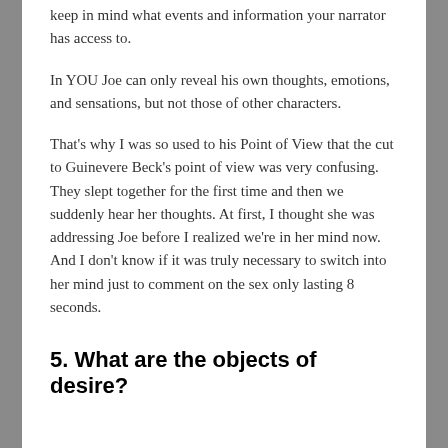keep in mind what events and information your narrator has access to.
In YOU Joe can only reveal his own thoughts, emotions, and sensations, but not those of other characters.
That's why I was so used to his Point of View that the cut to Guinevere Beck's point of view was very confusing. They slept together for the first time and then we suddenly hear her thoughts. At first, I thought she was addressing Joe before I realized we're in her mind now. And I don't know if it was truly necessary to switch into her mind just to comment on the sex only lasting 8 seconds.
5. What are the objects of desire?